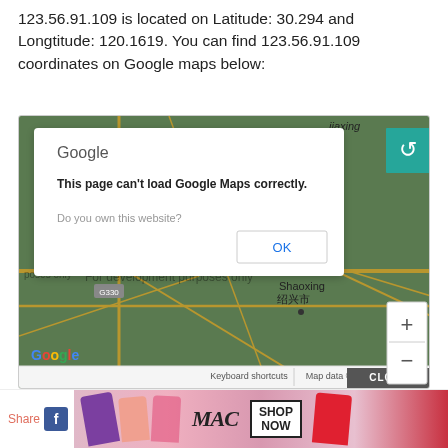123.56.91.109 is located on Latitude: 30.294 and Longtitude: 120.1619. You can find 123.56.91.109 coordinates on Google maps below:
[Figure (screenshot): Screenshot of an embedded Google Maps iframe showing an error dialog 'This page can't load Google Maps correctly.' with an OK button, overlaid on a map of the Shaoxing (绍兴市) area in China. The map shows roads, a zoom control, and a bottom bar with 'Keyboard shortcuts | Map data ©2022 | Terms of Use'. A teal refresh/retweet button is visible top right. A CLOSE button appears at the bottom right.]
[Figure (screenshot): Advertisement bar at the bottom showing 'Share', a Facebook icon, MAC cosmetics lipstick ad with 'SHOP NOW' box.]